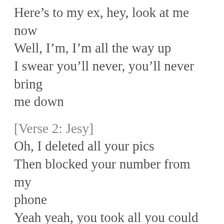Here's to my ex, hey, look at me now
Well, I'm, I'm all the way up
I swear you'll never, you'll never bring me down
[Verse 2: Jesy]
Oh, I deleted all your pics
Then blocked your number from my phone
Yeah yeah, you took all you could get
But you ain't getting this love no more
'Cause now I'm living so legit
Even though you broke my heart in two, baby
But I snapped right back, I'm so brand